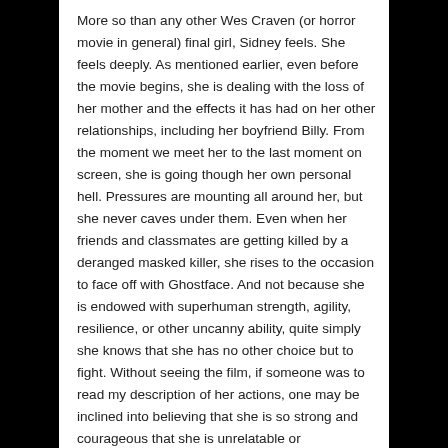More so than any other Wes Craven (or horror movie in general) final girl, Sidney feels. She feels deeply. As mentioned earlier, even before the movie begins, she is dealing with the loss of her mother and the effects it has had on her other relationships, including her boyfriend Billy. From the moment we meet her to the last moment on screen, she is going though her own personal hell. Pressures are mounting all around her, but she never caves under them. Even when her friends and classmates are getting killed by a deranged masked killer, she rises to the occasion to face off with Ghostface. And not because she is endowed with superhuman strength, agility, resilience, or other uncanny ability, quite simply she knows that she has no other choice but to fight. Without seeing the film, if someone was to read my description of her actions, one may be inclined into believing that she is so strong and courageous that she is unrelatable or unbelievable. Not true. Upon watching the iconic film (or its sequels, of which Scre4m is the best IMO), it becomes clear just how believable and relatable she is. Never once